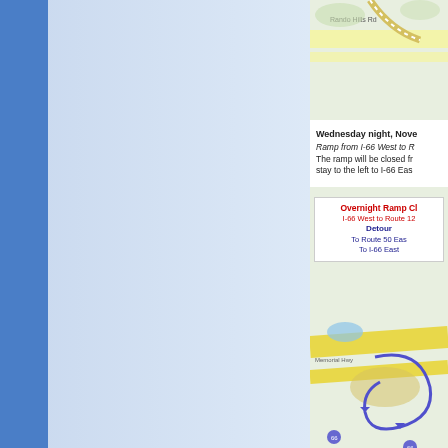[Figure (map): Road map showing highway interchange, top portion, cropped]
Wednesday night, November... Ramp from I-66 West to R... The ramp will be closed fr... stay to the left to I-66 Eas...
[Figure (infographic): Overnight Ramp Closure detour box: I-66 West to Route 12... Detour: To Route 50 East..., To I-66 East...]
[Figure (map): Road map showing highway interchange with detour route arrows, bottom portion]